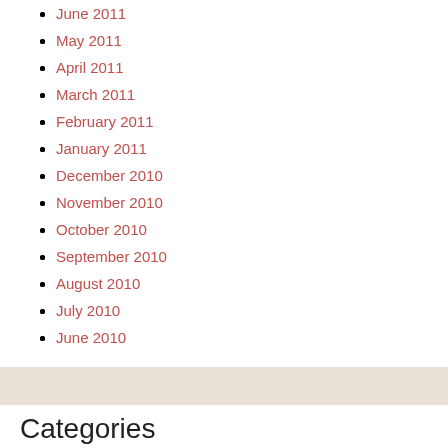June 2011
May 2011
April 2011
March 2011
February 2011
January 2011
December 2010
November 2010
October 2010
September 2010
August 2010
July 2010
June 2010
Categories
abuse
attitude
Biblical
Brenda's Books
bulimia
Christ
christian women speakers